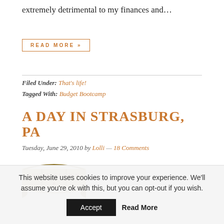extremely detrimental to my finances and…
READ MORE »
Filed Under: That's life!
Tagged With: Budget Bootcamp
A DAY IN STRASBURG, PA
Tuesday, June 29, 2010 by Lolli — 18 Comments
[Figure (logo): Seven Clown banner/logo with ribbon design]
This website uses cookies to improve your experience. We'll assume you're ok with this, but you can opt-out if you wish.
Accept  Read More